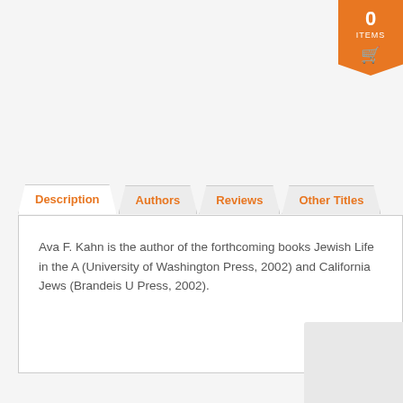[Figure (other): Orange cart badge showing 0 ITEMS with shopping cart icon]
Description | Authors | Reviews | Other Titles
Ava F. Kahn is the author of the forthcoming books Jewish Life in the A (University of Washington Press, 2002) and California Jews (Brandeis U Press, 2002).